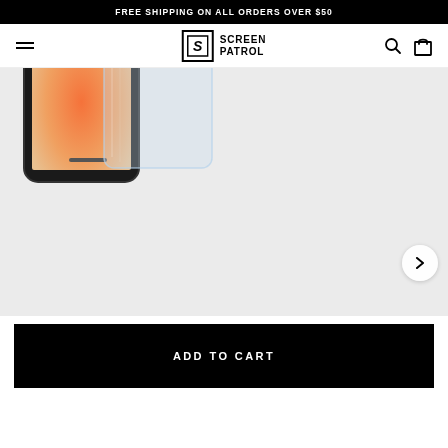FREE SHIPPING ON ALL ORDERS OVER $50
[Figure (logo): Screen Patrol logo with hamburger menu on left, search and cart icons on right]
[Figure (photo): iPhone 12 with a tempered glass screen protector being applied to it, shown against a light gray background with a next arrow button on the right]
ADD TO CART